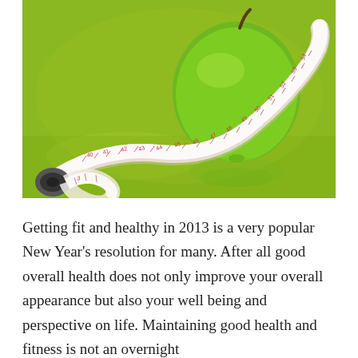[Figure (photo): A green apple wrapped with a white measuring tape with pink numbers, placed on a green reflective surface. Health and fitness themed image.]
Getting fit and healthy in 2013 is a very popular New Year's resolution for many. After all good overall health does not only improve your overall appearance but also your well being and perspective on life. Maintaining good health and fitness is not an overnight